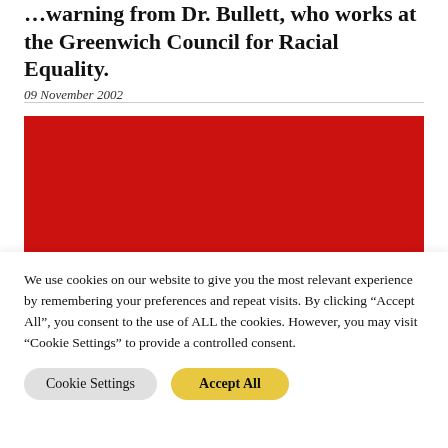…warning from Dr. Bullett, who works at the Greenwich Council for Racial Equality.
09 November 2002
[Figure (logo): Socialist Worker magazine logo — white bold text on red background with a star above the 'i' in Socialist]
We use cookies on our website to give you the most relevant experience by remembering your preferences and repeat visits. By clicking "Accept All", you consent to the use of ALL the cookies. However, you may visit "Cookie Settings" to provide a controlled consent.
Cookie Settings | Accept All